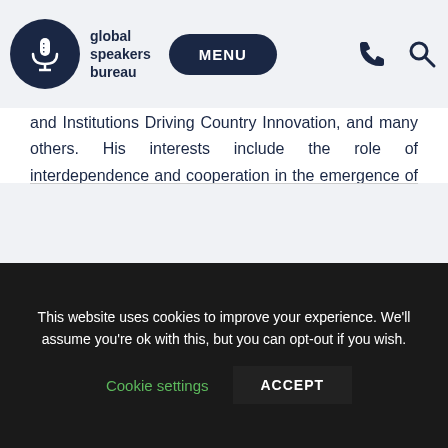global speakers bureau — MENU
and Institutions Driving Country Innovation, and many others. His interests include the role of interdependence and cooperation in the emergence of global institutions, elements of a successful approach to economic development, and aspects of management of the globalization process.
This website uses cookies to improve your experience. We'll assume you're ok with this, but you can opt-out if you wish.
Cookie settings   ACCEPT